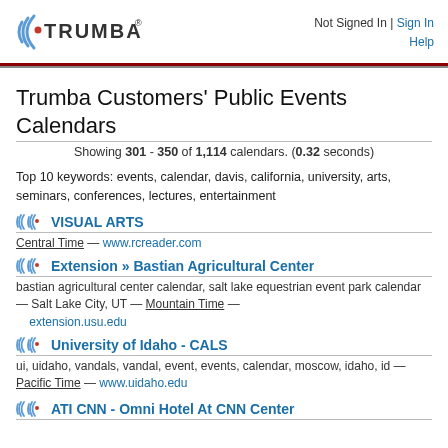[Figure (logo): Trumba logo with wave/signal icon and text TRUMBA with registered trademark]
Not Signed In | Sign In
Help
Trumba Customers' Public Events Calendars
Showing 301 - 350 of 1,114 calendars. (0.32 seconds)
Top 10 keywords: events, calendar, davis, california, university, arts, seminars, conferences, lectures, entertainment
VISUAL ARTS
Central Time — www.rcreader.com
Extension » Bastian Agricultural Center
bastian agricultural center calendar, salt lake equestrian event park calendar — Salt Lake City, UT — Mountain Time — extension.usu.edu
University of Idaho - CALS
ui, uidaho, vandals, vandal, event, events, calendar, moscow, idaho, id — Pacific Time — www.uidaho.edu
ATI CNN - Omni Hotel At CNN Center